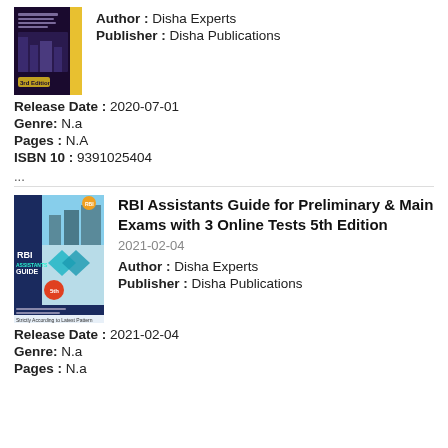[Figure (illustration): Book cover for an RBI/banking exam guide, dark purple/black with yellow spine, 3rd Edition]
Author : Disha Experts
Publisher : Disha Publications
Release Date : 2020-07-01
Genre: N.a
Pages : N.A
ISBN 10 : 9391025404
...
[Figure (illustration): Book cover for RBI Assistants Guide for Preliminary & Main Exams with 3 Online Tests 5th Edition, teal/navy/white design with RBI logo]
RBI Assistants Guide for Preliminary & Main Exams with 3 Online Tests 5th Edition
2021-02-04
Author : Disha Experts
Publisher : Disha Publications
Release Date : 2021-02-04
Genre: N.a
Pages : N.a